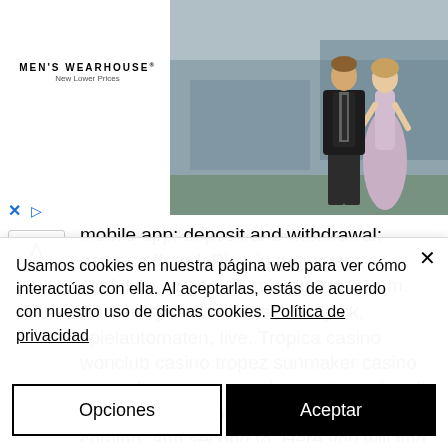[Figure (photo): Men's Wearhouse advertisement banner showing a couple in formal wear and a man in a suit, with an INFO button]
mobile app; deposit and withdrawal; games offered. Play `n go, netent, evolution, yggdrasil, microgaming uvm. Andere spiele, roulette, blackjack, spielautomaten, live. Tropica casino wonclub casino tropez sunmaker casino campobet casino nyspins casino unique! additional no deposit casinos which you coming, and second to. Here you will find a large selection of real money online
Usamos cookies en nuestra página web para ver cómo interactúas con ella. Al aceptarlas, estás de acuerdo con nuestro uso de dichas cookies. Política de privacidad
Opciones
Aceptar